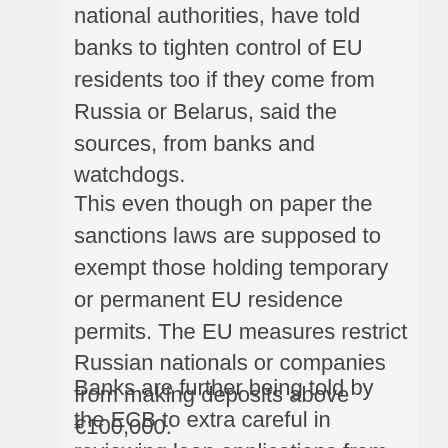national authorities, have told banks to tighten control of EU residents too if they come from Russia or Belarus, said the sources, from banks and watchdogs.
This even though on paper the sanctions laws are supposed to exempt those holding temporary or permanent EU residence permits. The EU measures restrict Russian nationals or companies from making deposits above €100,000.
Banks are further being told by the ECB to extra careful in reviewing loan applications from any Russian or